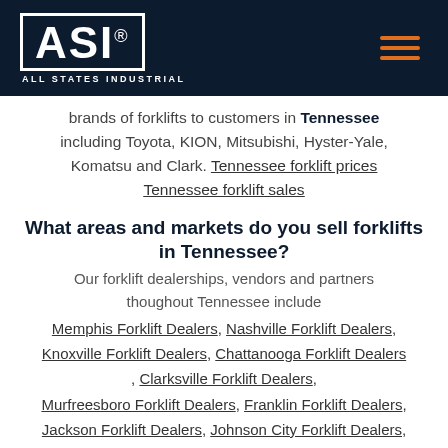ASI ALL STATES INDUSTRIAL
brands of forklifts to customers in Tennessee including Toyota, KION, Mitsubishi, Hyster-Yale, Komatsu and Clark. Tennessee forklift prices Tennessee forklift sales
What areas and markets do you sell forklifts in Tennessee?
Our forklift dealerships, vendors and partners thoughout Tennessee include
Memphis Forklift Dealers, Nashville Forklift Dealers, Knoxville Forklift Dealers, Chattanooga Forklift Dealers, Clarksville Forklift Dealers, Murfreesboro Forklift Dealers, Franklin Forklift Dealers, Jackson Forklift Dealers, Johnson City Forklift Dealers, Bartlett Forklift Dealers, Hendersonville Forklift Dealers